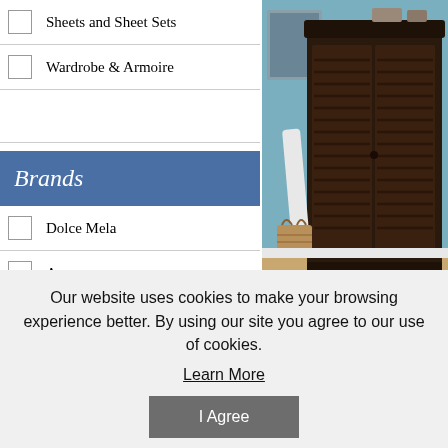Sheets and Sheet Sets
Wardrobe & Armoire
Brands
Dolce Mela
Arya
Diana
Le Vele
[Figure (photo): Dark espresso/brown wooden wardrobe armoire with louvered doors against a blue wall, with a rolled blueprint and basket nearby]
Multi-Purpose Wardrobe A...
Our website uses cookies to make your browsing experience better. By using our site you agree to our use of cookies.
Learn More
I Agree